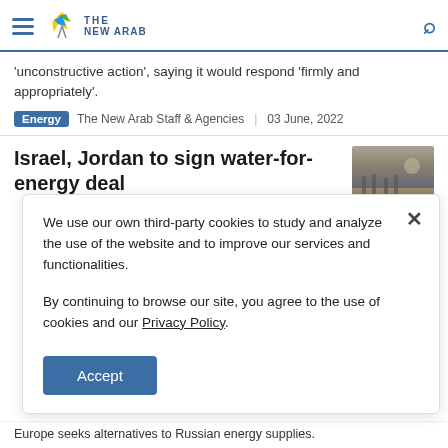THE NEW ARAB — Navigation header with hamburger menu and search icon
'unconstructive action', saying it would respond 'firmly and appropriately'.
Energy  The New Arab Staff & Agencies  |  03 June, 2022
Israel, Jordan to sign water-for-energy deal
We use our own third-party cookies to study and analyze the use of the website and to improve our services and functionalities.

By continuing to browse our site, you agree to the use of cookies and our Privacy Policy.
Europe seeks alternatives to Russian energy supplies.